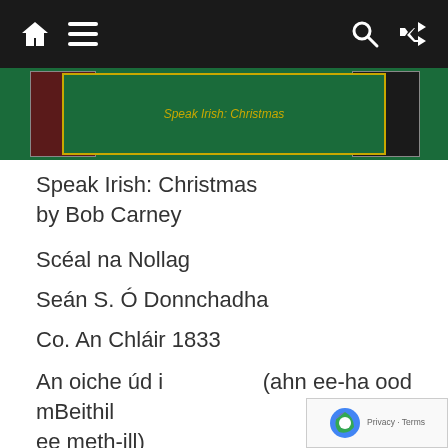[navigation bar with home, menu, search, shuffle icons]
[Figure (photo): Green book cover banner with gold border, dark red book on left, dark book on right, gold italic text in center]
Speak Irish: Christmas
by Bob Carney
Scéal na Nollag
Seán S. Ó Donnchadha
Co. An Chláir 1833
An oiche úd i mBeithil	(ahn ee-ha ood ee meth-ill)
Is stair anois an scéal,	(iss starr ah-
ahn shcale)